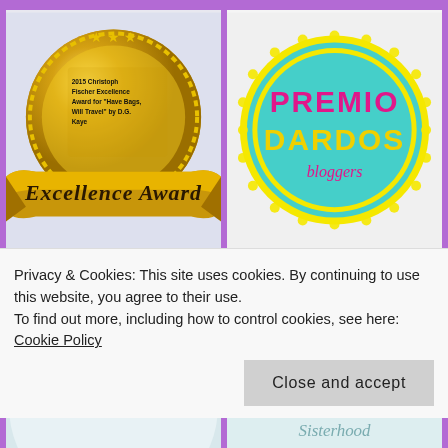[Figure (illustration): Gold Excellence Award medal/seal with text '2015 Christoph Fischer Excellence Award for "Have Bags, Will Travel" by D.G. Kaye' and a gold ribbon banner reading 'Excellence Award']
[Figure (illustration): Premio Dardos bloggers award badge — teal/turquoise circular badge with yellow scalloped border. Text reads 'PREMIO DARDOS bloggers' in pink and yellow.]
[Figure (illustration): Circular badge with teal bird/plant icons on light background, partially visible]
[Figure (illustration): Partial view of a crystal/glass circular award with 'Sisterhood' text visible]
Privacy & Cookies: This site uses cookies. By continuing to use this website, you agree to their use. To find out more, including how to control cookies, see here: Cookie Policy